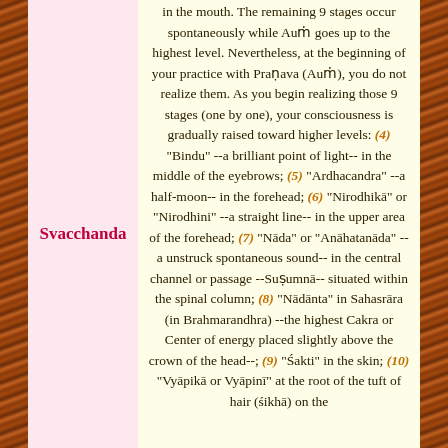Svacchanda
in the mouth. The remaining 9 stages occur spontaneously while Auṁ goes up to the highest level. Nevertheless, at the beginning of your practice with Praṇava (Auṁ), you do not realize them. As you begin realizing those 9 stages (one by one), your consciousness is gradually raised toward higher levels: (4) "Bindu" --a brilliant point of light-- in the middle of the eyebrows; (5) "Ardhacandra" --a half-moon-- in the forehead; (6) "Nirodhikā" or "Nirodhini" --a straight line-- in the upper area of the forehead; (7) "Nāda" or "Anāhatanāda" --a unstruck spontaneous sound-- in the central channel or passage --Suṣumnā-- situated within the spinal column; (8) "Nādānta" in Sahasrāra (in Brahmarandhra) --the highest Cakra or Center of energy placed slightly above the crown of the head--; (9) "Śakti" in the skin; (10) "Vyāpikā or Vyāpinī" at the root of the tuft of hair (śikhā) on the